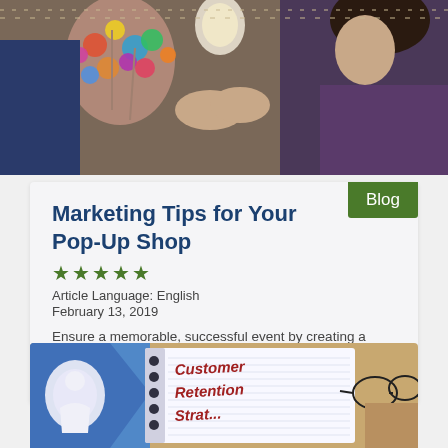[Figure (photo): Photo of two people in a colorful shop with decorative lamps and merchandise]
Marketing Tips for Your Pop-Up Shop
★★★★★
Article Language: English
February 13, 2019
Ensure a memorable, successful event by creating a three-stage marketing plan for before, during, and after your pop-up shop event.
[Figure (photo): Photo of a spiral notebook with 'Customer Retention Strat...' written in red handwriting, a person figure graphic, and glasses on a wooden table]